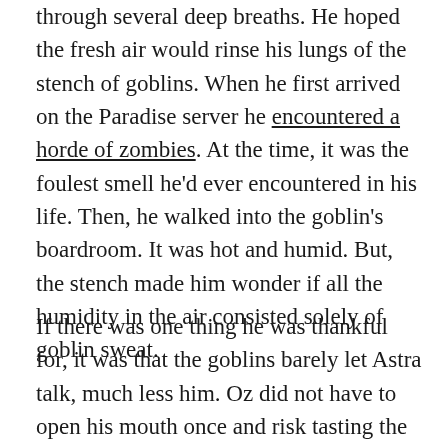through several deep breaths. He hoped the fresh air would rinse his lungs of the stench of goblins. When he first arrived on the Paradise server he encountered a horde of zombies. At the time, it was the foulest smell he'd ever encountered in his life. Then, he walked into the goblin's boardroom. It was hot and humid. But, the stench made him wonder if all the humidity in the air consisted solely of goblin sweat.
If there was one thing he was thankful for, it was that the goblins barely let Astra talk, much less him. Oz did not have to open his mouth once and risk tasting the air. Now he happily gulped as much air as he could, and he caught the delicious scent of cooking meat. It wafted